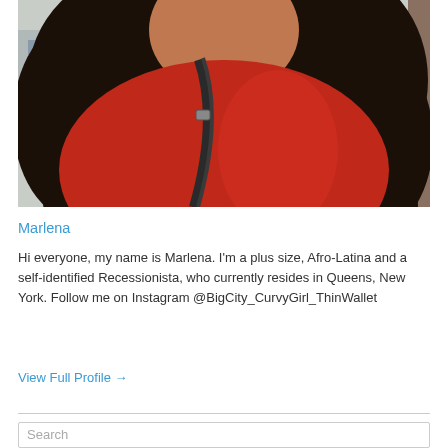[Figure (photo): A plus-size woman with long curly dark hair wearing a red top and a black crossbody bag strap, photographed outdoors with a blurred urban background.]
Marlena
Hi everyone, my name is Marlena. I'm a plus size, Afro-Latina and a self-identified Recessionista, who currently resides in Queens, New York. Follow me on Instagram @BigCity_CurvyGirl_ThinWallet
View Full Profile →